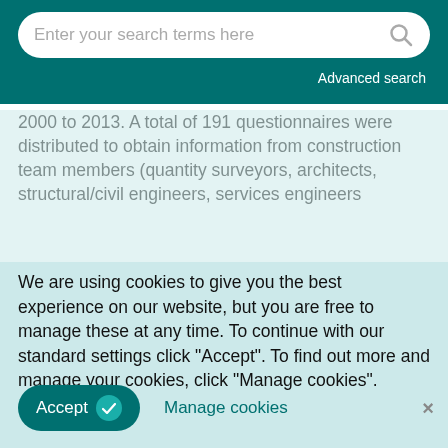Enter your search terms here [search icon] Advanced search
2000 to 2013. A total of 191 questionnaires were distributed to obtain information from construction team members (quantity surveyors, architects, structural/civil engineers, services engineers
We are using cookies to give you the best experience on our website, but you are free to manage these at any time. To continue with our standard settings click "Accept". To find out more and manage your cookies, click "Manage cookies".
Accept  ✓   Manage cookies   ✕
Findings
The results revealed that construction team